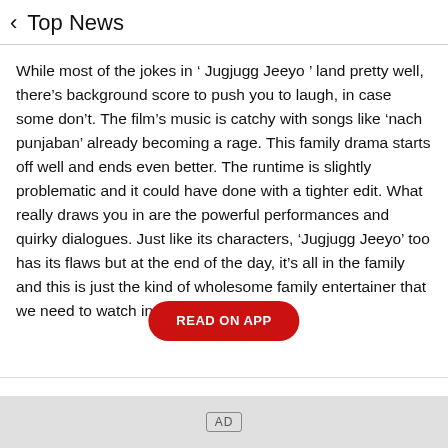< Top News
While most of the jokes in ‘ Jugjugg Jeeyo ’ land pretty well, there’s background score to push you to laugh, in case some don’t. The film’s music is catchy with songs like ‘nach punjaban’ already becoming a rage. This family drama starts off well and ends even better. The runtime is slightly problematic and it could have done with a tighter edit. What really draws you in are the powerful performances and quirky dialogues. Just like its characters, ‘Jugjugg Jeeyo’ too has its flaws but at the end of the day, it’s all in the family and this is just the kind of wholesome family entertainer that we need to watch in the theatre.
READ ON APP
Invest 18k per month & Get 2 Crore Return on Maturity
AD